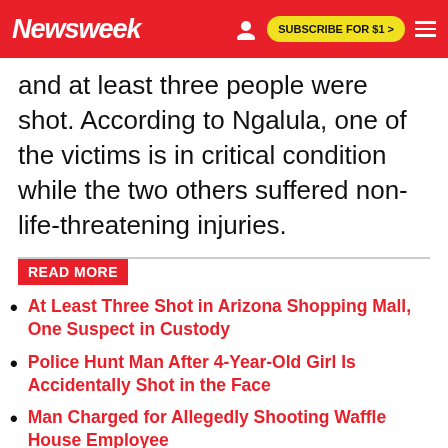Newsweek | SUBSCRIBE FOR $1 >
and at least three people were shot. According to Ngalula, one of the victims is in critical condition while the two others suffered non-life-threatening injuries.
READ MORE
At Least Three Shot in Arizona Shopping Mall, One Suspect in Custody
Police Hunt Man After 4-Year-Old Girl Is Accidentally Shot in the Face
Man Charged for Allegedly Shooting Waffle House Employee